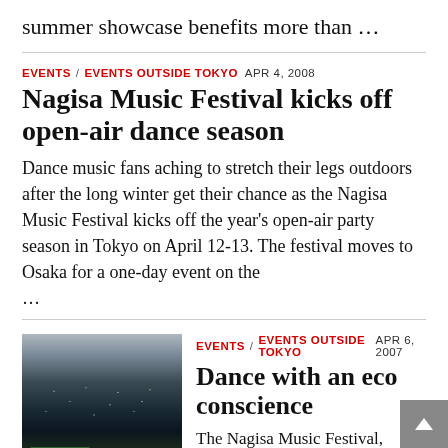summer showcase benefits more than …
EVENTS / EVENTS OUTSIDE TOKYO  APR 4, 2008
Nagisa Music Festival kicks off open-air dance season
Dance music fans aching to stretch their legs outdoors after the long winter get their chance as the Nagisa Music Festival kicks off the year's open-air party season in Tokyo on April 12-13. The festival moves to Osaka for a one-day event on the …
[Figure (photo): Crowd at Nagisa Music Festival outdoor event with green platform/stage in foreground]
EVENTS / EVENTS OUTSIDE TOKYO  APR 6, 2007
Dance with an eco conscience
The Nagisa Music Festival, taking place in Tokyo on April 7-8 and in Osaka April 29, is one of the most interesting success